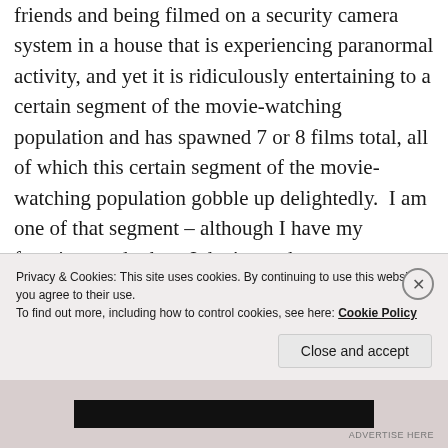friends and being filmed on a security camera system in a house that is experiencing paranormal activity, and yet it is ridiculously entertaining to a certain segment of the movie-watching population and has spawned 7 or 8 films total, all of which this certain segment of the movie-watching population gobble up delightedly.  I am one of that segment – although I have my favorites, and others I don't watch on repeat. Now, I love horror films, and I love found
Privacy & Cookies: This site uses cookies. By continuing to use this website, you agree to their use.
To find out more, including how to control cookies, see here: Cookie Policy
Close and accept